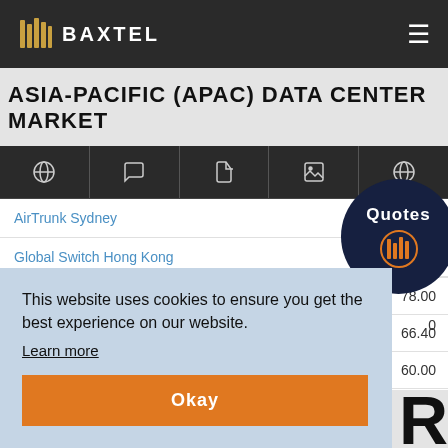Baxtel
ASIA-PACIFIC (APAC) DATA CENTER MARKET
[Figure (screenshot): Navigation tab bar with globe, chat, document, image, and globe icons]
| Name | Value1 | Value2 |
| --- | --- | --- |
| AirTrunk Sydney | 376... |  |
| Global Switch Hong Kong | 753,47... | 0 |
|  |  | 78.00 |
|  |  | 66.40 |
|  |  | 60.00 |
This website uses cookies to ensure you get the best experience on our website.
Learn more
Okay
MARKETS BY # OF SITES